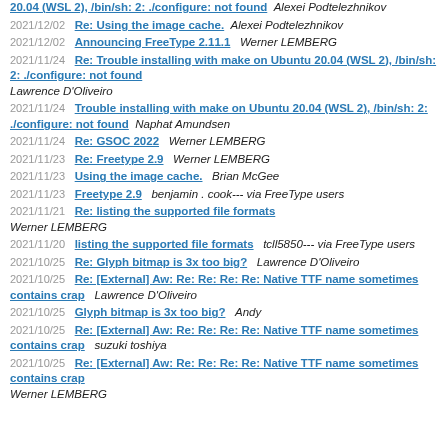20.04 (WSL 2), /bin/sh: 2: ./configure: not found   Alexei Podtelezhnikov
2021/12/02   Re: Using the image cache.   Alexei Podtelezhnikov
2021/12/02   Announcing FreeType 2.11.1   Werner LEMBERG
2021/11/24   Re: Trouble installing with make on Ubuntu 20.04 (WSL 2), /bin/sh: 2: ./configure: not found   Lawrence D'Oliveiro
2021/11/24   Trouble installing with make on Ubuntu 20.04 (WSL 2), /bin/sh: 2: ./configure: not found   Naphat Amundsen
2021/11/24   Re: GSOC 2022   Werner LEMBERG
2021/11/23   Re: Freetype 2.9   Werner LEMBERG
2021/11/23   Using the image cache.   Brian McGee
2021/11/23   Freetype 2.9   benjamin . cook--- via FreeType users
2021/11/21   Re: listing the supported file formats   Werner LEMBERG
2021/11/20   listing the supported file formats   tcll5850--- via FreeType users
2021/10/25   Re: Glyph bitmap is 3x too big?   Lawrence D'Oliveiro
2021/10/25   Re: [External] Aw: Re: Re: Re: Re: Native TTF name sometimes contains crap   Lawrence D'Oliveiro
2021/10/25   Glyph bitmap is 3x too big?   Andy
2021/10/25   Re: [External] Aw: Re: Re: Re: Re: Native TTF name sometimes contains crap   suzuki toshiya
2021/10/25   Re: [External] Aw: Re: Re: Re: Re: Native TTF name sometimes contains crap   Werner LEMBERG